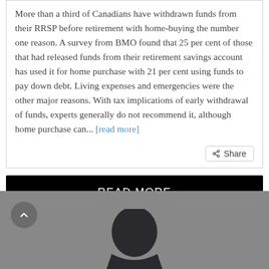More than a third of Canadians have withdrawn funds from their RRSP before retirement with home-buying the number one reason. A survey from BMO found that 25 per cent of those that had released funds from their retirement savings account has used it for home purchase with 21 per cent using funds to pay down debt. Living expenses and emergencies were the other major reasons. With tax implications of early withdrawal of funds, experts generally do not recommend it, although home purchase can... [read more]
READ MORE
[Figure (photo): Gray section at the bottom with a back-to-top arrow button (circular, dark gray) on the left and a partial photo of a person's head/shoulders emerging from the bottom center.]